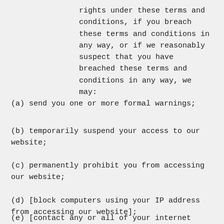rights under these terms and conditions, if you breach these terms and conditions in any way, or if we reasonably suspect that you have breached these terms and conditions in any way, we may:
(a) send you one or more formal warnings;
(b) temporarily suspend your access to our website;
(c) permanently prohibit you from accessing our website;
(d) [block computers using your IP address from accessing our website];
(e) [contact any or all of your internet service...